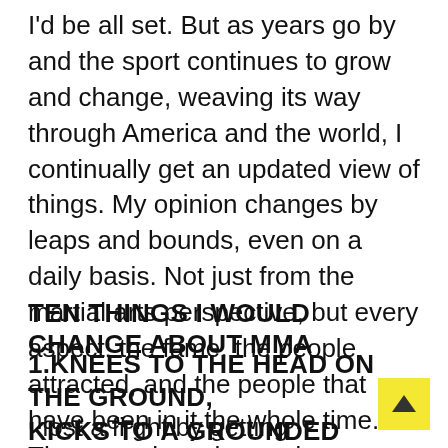I'd be all set. But as years go by and the sport continues to grow and change, weaving its way through America and the world, I continually get an updated view of things. My opinion changes by leaps and bounds, even on a daily basis. Not just from the martial arts perspective, but every aspect: the fame, the people attracted, and the people that have been in it the whole time. The game has changed.
TEN THINGS I WOULD CHANGE ABOUT MMA
1.KNEES TO THE HEAD ON THE GROUND, KICKS TO A GROUNDED OPPONENT
I lost a fi ght by getting soccer kicked, so don't